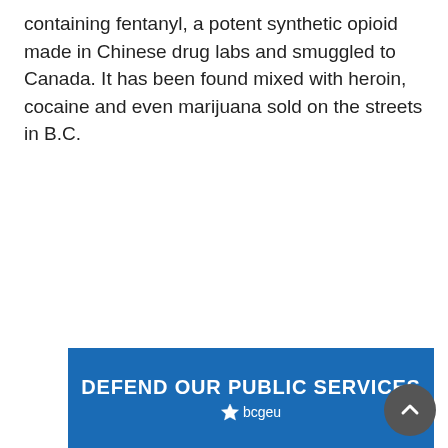containing fentanyl, a potent synthetic opioid made in Chinese drug labs and smuggled to Canada. It has been found mixed with heroin, cocaine and even marijuana sold on the streets in B.C.
[Figure (other): Blue advertisement banner reading 'DEFEND OUR PUBLIC SERVICES' with bcgeu logo]